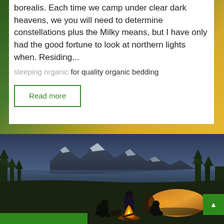borealis. Each time we camp under clear dark heavens, we you will need to determine constellations plus the Milky means, but I have only had the good fortune to look at northern lights when. Residing... sleeping organic for quality organic bedding
Read more
[Figure (photo): People sitting around a campfire near a glowing orange tent, with a mountain lake and forested mountains in the background at dusk/twilight]